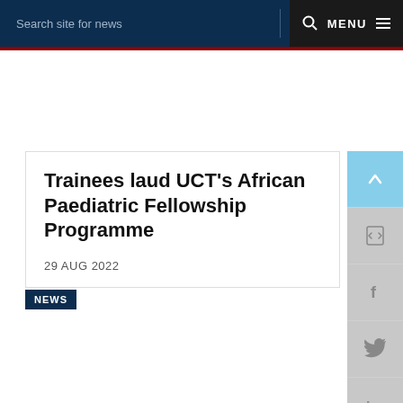Search site for news  MENU
Trainees laud UCT’s African Paediatric Fellowship Programme
29 AUG 2022
NEWS